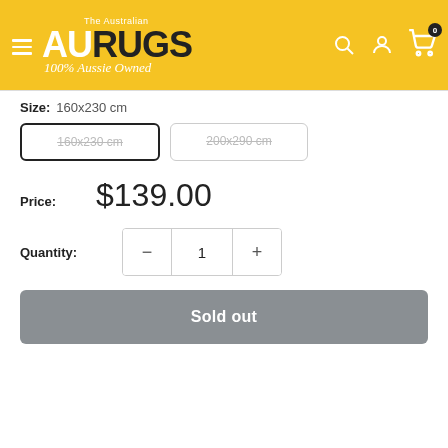[Figure (logo): AU Rugs logo — The Australian AU RUGS 100% Aussie Owned — on yellow/gold background header with hamburger menu, search, account, and cart icons]
Size:  160x230 cm
160x230 cm (selected, strikethrough)
200x290 cm (strikethrough)
Price:  $139.00
Quantity:  1
Sold out